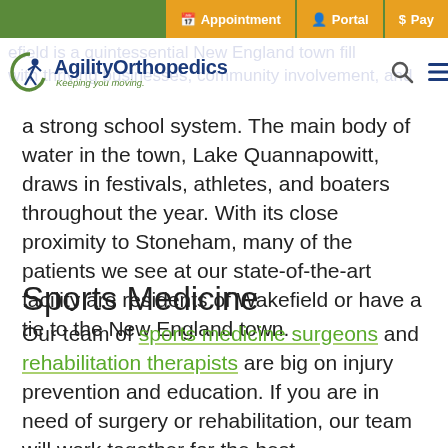Appointment | Portal | $ Pay
[Figure (logo): Agility Orthopedics logo with tagline 'Keeping you moving.']
efield is a quintessential New England town filled with thriving businesses, community involvement, and a strong school system. The main body of water in the town, Lake Quannapowitt, draws in festivals, athletes, and boaters throughout the year. With its close proximity to Stoneham, many of the patients we see at our state-of-the-art facility are residents of Wakefield or have a tie to the New England town.
Sports Medicine
Our team of sports medicine surgeons and rehabilitation therapists are big on injury prevention and education. If you are in need of surgery or rehabilitation, our team will work together for the best